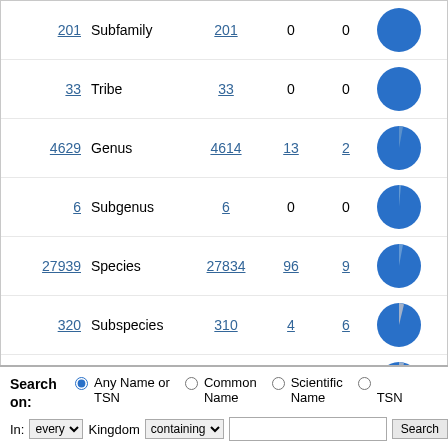| Count | Rank | Accepted | Unaccepted | Unverified | Chart |
| --- | --- | --- | --- | --- | --- |
| 201 | Subfamily | 201 | 0 | 0 |  |
| 33 | Tribe | 33 | 0 | 0 |  |
| 4629 | Genus | 4614 | 13 | 2 |  |
| 6 | Subgenus | 6 | 0 | 0 |  |
| 27939 | Species | 27834 | 96 | 9 |  |
| 320 | Subspecies | 310 | 4 | 6 |  |
| 33734 | ALL | 33603 | 114 | 17 |  |
Search on: Any Name or TSN | Common Name | Scientific Name | TSN
In: every Kingdom containing [search box] Search